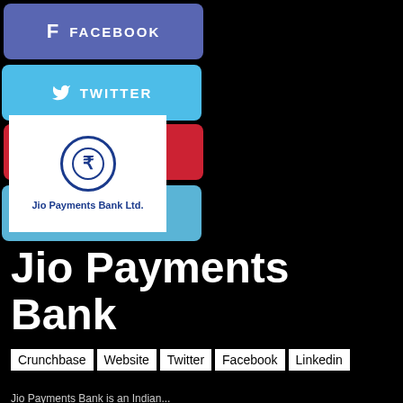[Figure (infographic): Social media share buttons: Facebook (blue-purple), Twitter (light blue), Pinterest (red), LinkedIn (light blue)]
[Figure (logo): Jio Payments Bank Ltd. logo with rupee symbol in a blue circle]
Jio Payments Bank
Crunchbase Website Twitter Facebook Linkedin
Jio Payments Bank is an Indian...